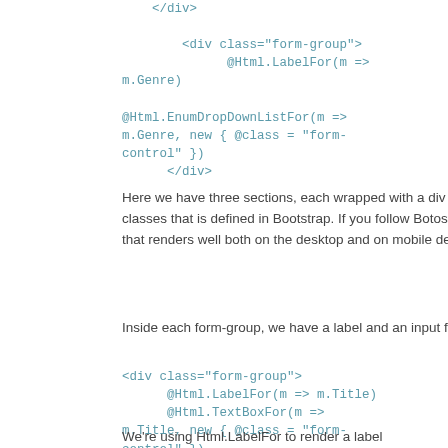</div>

        <div class="form-group">
              @Html.LabelFor(m =>
m.Genre)

@Html.EnumDropDownListFor(m =>
m.Genre, new { @class = "form-
control" })
      </div>
Here we have three sections, each wrapped with a div with a form-group class. Again, this is one of the classes that is defined in Bootstrap. If you follow Botostrap's markup, you always get a nice, clean form that renders well both on the desktop and on mobile devices.
Inside each form-group, we have a label and an input field. Look at the first form-group.
<div class="form-group">
      @Html.LabelFor(m => m.Title)
      @Html.TextBoxFor(m =>
m.Title, new { @class = "form-
control" })
</div>
We're using Html.LabelFor to render a label